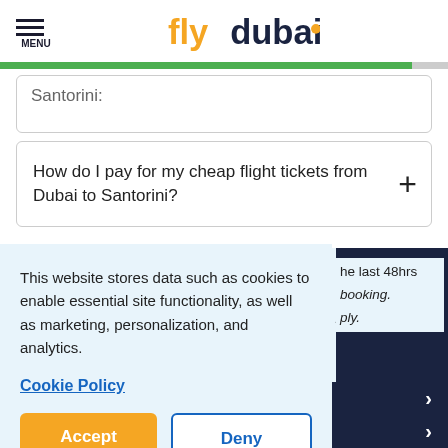MENU | flydubai logo
Santorini:
How do I pay for my cheap flight tickets from Dubai to Santorini?
This website stores data such as cookies to enable essential site functionality, as well as marketing, personalization, and analytics.
Cookie Policy
Accept
Deny
he last 48hrs booking. ply.
Popular flights